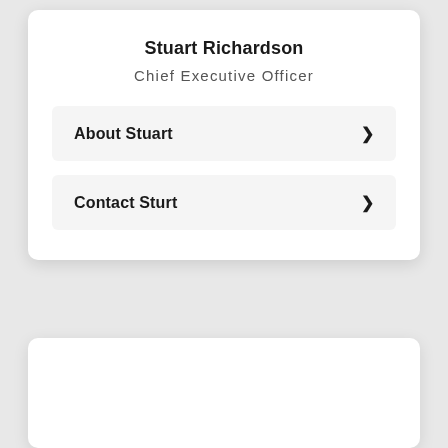Stuart Richardson
Chief Executive Officer
About Stuart ▶
Contact Sturt ▶